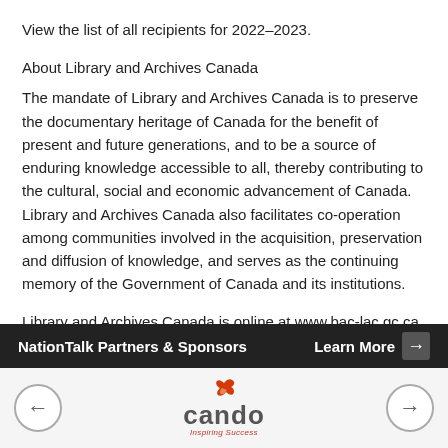View the list of all recipients for 2022–2023.
About Library and Archives Canada
The mandate of Library and Archives Canada is to preserve the documentary heritage of Canada for the benefit of present and future generations, and to be a source of enduring knowledge accessible to all, thereby contributing to the cultural, social and economic advancement of Canada. Library and Archives Canada also facilitates co-operation among communities involved in the acquisition, preservation and diffusion of knowledge, and serves as the continuing memory of the Government of Canada and its institutions.
Library and Archives Canada is online at www.bac-lac.gc.ca.
Quotes
“Congratulations to this year’s DHCP recipients! LAC is proud to support
NationTalk Partners & Sponsors | Learn More →